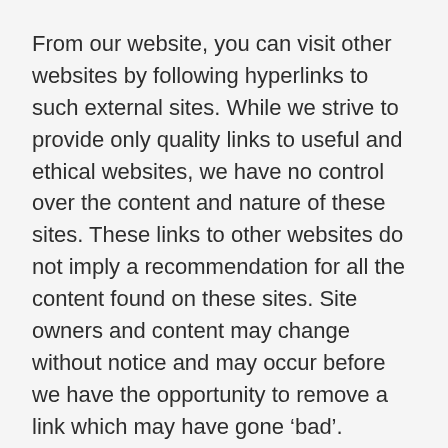From our website, you can visit other websites by following hyperlinks to such external sites. While we strive to provide only quality links to useful and ethical websites, we have no control over the content and nature of these sites. These links to other websites do not imply a recommendation for all the content found on these sites. Site owners and content may change without notice and may occur before we have the opportunity to remove a link which may have gone ‘bad’.
Please be also aware that when you leave our website, other sites may have different privacy policies and terms which are beyond our control. Please be sure to check the Privacy Policies of these sites as well as their “Terms of Service”